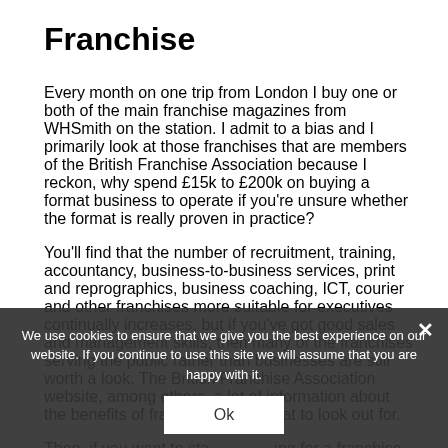Franchise
Every month on one trip from London I buy one or both of the main franchise magazines from WHSmith on the station. I admit to a bias and I primarily look at those franchises that are members of the British Franchise Association because I reckon, why spend £15k to £200k on buying a format business to operate if you're unsure whether the format is really proven in practice?
You'll find that the number of recruitment, training, accountancy, business-to-business services, print and reprographics, business coaching, ICT, courier and other franchises more suitable for executives continually increases, but if you've got good sales and management skills, then many of the franchises serving the public rather than businesses are still worth a look. The British Franchise Association website, among others, a lot of information about the benefits of franchising and what to look out for.
Then, if you want to start looking for a franchise to set up or even get a resale of an existing franchise, go
We use cookies to ensure that we give you the best experience on our website. If you continue to use this site we will assume that you are happy with it.